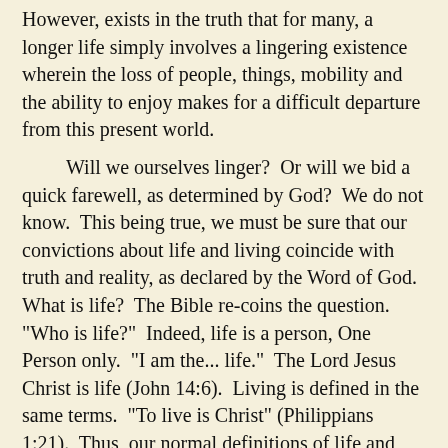However, exists in the truth that for many, a longer life simply involves a lingering existence wherein the loss of people, things, mobility and the ability to enjoy makes for a difficult departure from this present world.
Will we ourselves linger?  Or will we bid a quick farewell, as determined by God?  We do not know.  This being true, we must be sure that our convictions about life and living coincide with truth and reality, as declared by the Word of God.  What is life?  The Bible re-coins the question.  "Who is life?"  Indeed, life is a person, One Person only.  "I am the... life."  The Lord Jesus Christ is life (John 14:6).  Living is defined in the same terms.  "To live is Christ" (Philippians 1:21).  Thus, our normal definitions of life and living crash on the rocks of Scriptural truth.  We should be glad that they do, for the aforementioned reason that we may lose just about everything before the last beat of our heart.
If we live long enough, we will see many, and perhaps most, of those dear to us pass away from us.  Things will either be lost, left behind, or drained of their pleasure as our capacity for enjoyment dissolves.  Waning mobility means that places will likely become memories to recall rather than